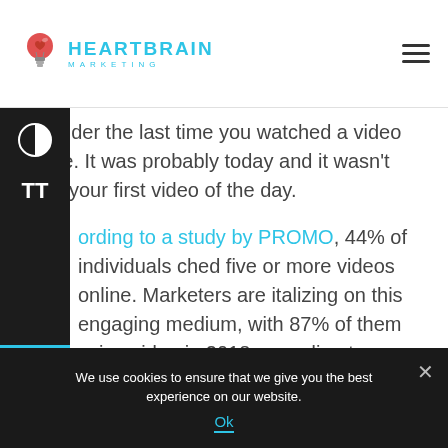[Figure (logo): HeartBrain Marketing logo with lightbulb/heart icon in red and grey tones, and text HEARTBRAIN MARKETING in cyan/teal]
Consider the last time you watched a video online. It was probably today and it wasn't even your first video of the day.
According to a study by PROMO, 44% of individuals watched five or more videos online. Marketers are capitalizing on this engaging medium, with 87% of them using video in 2018 according to HubSpot. If you aren't using video marketing as part of a holistic strategy, you should be.
We use cookies to ensure that we give you the best experience on our website.
Ok